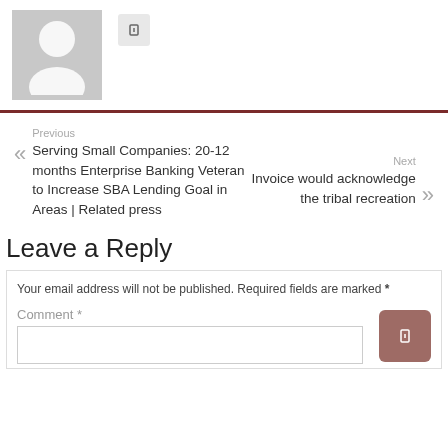[Figure (illustration): Gray avatar placeholder silhouette image with a person icon]
[Figure (other): Small square icon button with a dark symbol]
Previous
Serving Small Companies: 20-12 months Enterprise Banking Veteran to Increase SBA Lending Goal in Areas | Related press
Next
Invoice would acknowledge the tribal recreation
Leave a Reply
Your email address will not be published. Required fields are marked *
Comment *